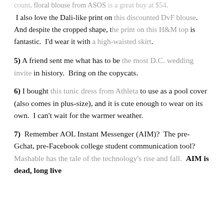count, floral blouse from ASOS is a great buy at $54.
I also love the Dali-like print on this discounted DvF blouse. And despite the cropped shape, the print on this H&M top is fantastic. I'd wear it with a high-waisted skirt.
5) A friend sent me what has to be the most D.C. wedding invite in history. Bring on the copycats.
6) I bought this tunic dress from Athleta to use as a pool cover (also comes in plus-size), and it is cute enough to wear on its own. I can't wait for the warmer weather.
7) Remember AOL Instant Messenger (AIM)? The pre-Gchat, pre-Facebook college student communication tool? Mashable has the tale of the technology's rise and fall. AIM is dead, long live